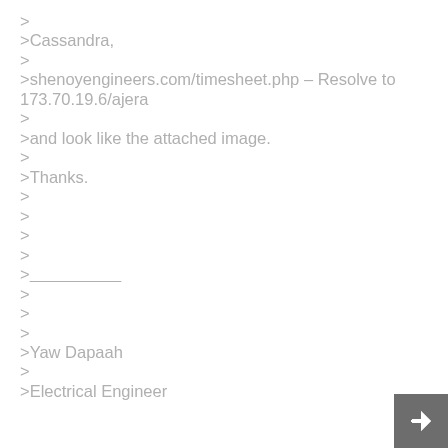>
>Cassandra,
>
>shenoyengineers.com/timesheet.php – Resolve to 173.70.19.6/ajera
>
>and look like the attached image.
>
>Thanks.
>
>
>
>
>____________________
>
>
>
>Yaw Dapaah
>
>Electrical Engineer